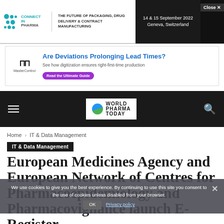[Figure (logo): Connect in Pharma banner ad with event date 14 & 15 September 2022, Geneva, Switzerland and Close button]
[Figure (infographic): MasterControl ad: Are Deviations Prolonging Lead Times? See how digitization ensures right-first-time production. Read the Ultimate Guide button.]
World Pharma Today navigation bar with hamburger menu and search icon
Home › IT & Data Management
IT & Data Management
European Medicines Agency and European Network of Centres for Pharmacoepidemiology and Pharmacovigilance launch E-Register
We use cookies to give you the best experience. By continuing to use this site you consent to the use of cookies unless disabled from your browser.
OK   Privacy policy